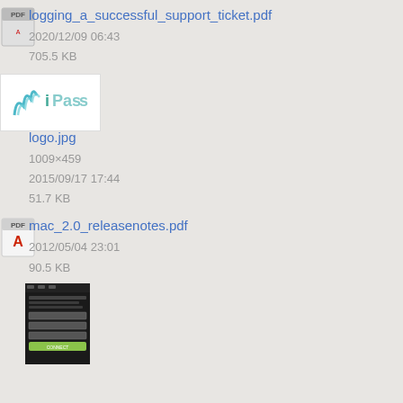logging_a_successful_support_ticket.pdf
2020/12/09 06:43
705.5 KB
logo.jpg
1009×459
2015/09/17 17:44
51.7 KB
mac_2.0_releasenotes.pdf
2012/05/04 23:01
90.5 KB
[Figure (screenshot): Screenshot of a mobile app login screen with dark background and input fields]